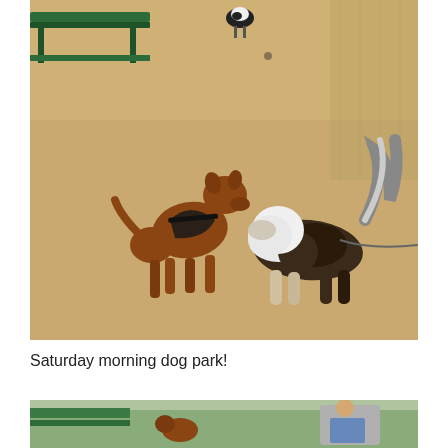[Figure (photo): Two small dogs sniffing each other at a dog park. A brown/tan dog with a black harness on the left faces a black and white fluffy dog on the right. Sandy ground, a green bench visible top-left, a black and white dog in the background top-center, chain-link fence in background.]
Saturday morning dog park!
[Figure (photo): Partial view of another photo at the dog park: a person sitting on a bench visible on the right side, a dog or person visible on the left, chain-link fence in background.]